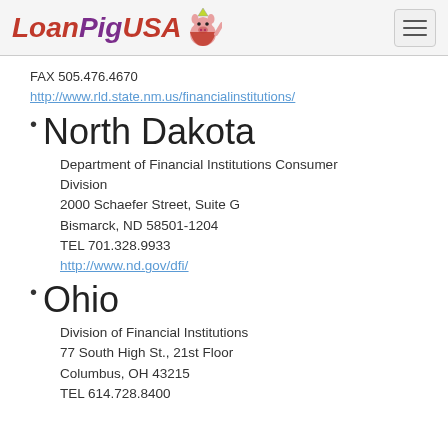LoanPigUSA
FAX 505.476.4670
http://www.rld.state.nm.us/financialinstitutions/
North Dakota
Department of Financial Institutions Consumer Division
2000 Schaefer Street, Suite G
Bismarck, ND 58501-1204
TEL 701.328.9933
http://www.nd.gov/dfi/
Ohio
Division of Financial Institutions
77 South High St., 21st Floor
Columbus, OH 43215
TEL 614.728.8400